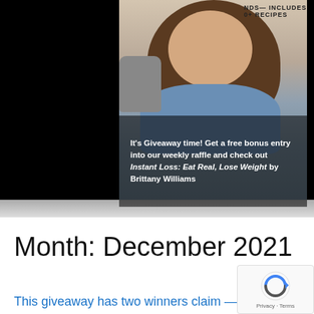[Figure (photo): Book cover showing a woman with long brown hair in a blue denim shirt, standing in a kitchen with an Instant Pot. Text at top reads 'NDS— INCLUDES 0+ RECIPES'. There is a dark overlay band with promotional text.]
It's Giveaway time! Get a free bonus entry into our weekly raffle and check out Instant Loss: Eat Real, Lose Weight by Brittany Williams
Month: December 2021
This giveaway has two winners claim —